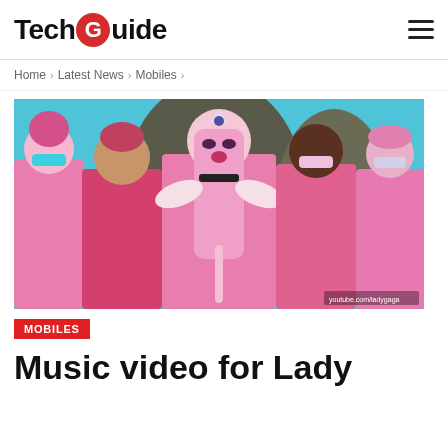TechGuide
Home > Latest News > Mobiles >
[Figure (photo): Lady Gaga and dancers dressed in pink outfits with goggles, pink hair and accessories, standing against a blue sky background in a music video still]
MOBILES
Music video for Lady